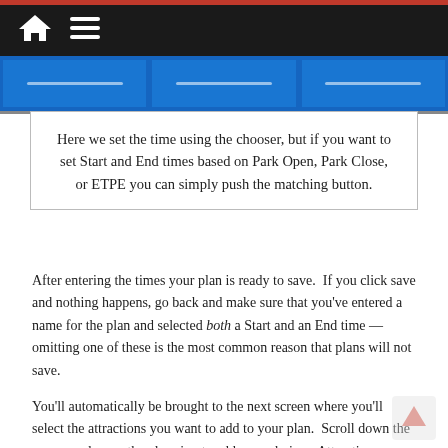Navigation bar with home and menu icons
[Figure (screenshot): Three blue UI button panels in a row, showing a time chooser interface]
Here we set the time using the chooser, but if you want to set Start and End times based on Park Open, Park Close, or ETPE you can simply push the matching button.
After entering the times your plan is ready to save.  If you click save and nothing happens, go back and make sure that you've entered a name for the plan and selected both a Start and an End time — omitting one of these is the most common reason that plans will not save.
You'll automatically be brought to the next screen where you'll select the attractions you want to add to your plan.  Scroll down the screen and press the plus sign to add your choices. Attractions are organized into some basic categories, so make sure to scroll all the way to the bottom to find everything you